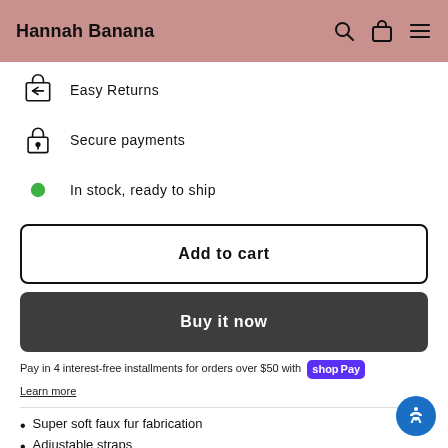Hannah Banana
Easy Returns
Secure payments
In stock, ready to ship
Add to cart
Buy it now
Pay in 4 interest-free installments for orders over $50 with Shop Pay
Learn more
Super soft faux fur fabrication
Adjustable straps
Top zipper closure